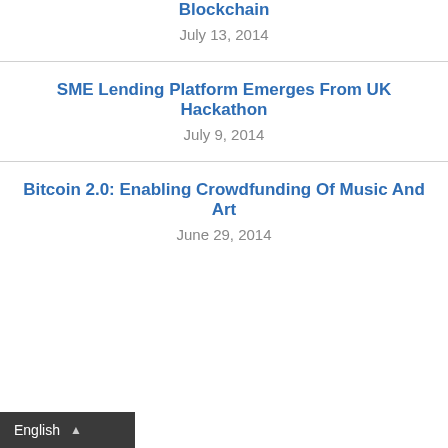Blockchain
July 13, 2014
SME Lending Platform Emerges From UK Hackathon
July 9, 2014
Bitcoin 2.0: Enabling Crowdfunding Of Music And Art
June 29, 2014
English